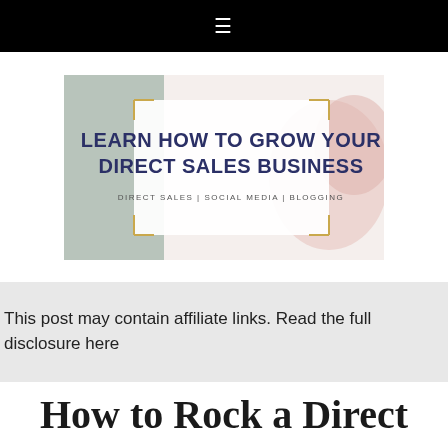≡
[Figure (illustration): Blog banner image with light gray and pink watercolor background, gold frame corners, dark navy bold text reading 'LEARN HOW TO GROW YOUR DIRECT SALES BUSINESS' and smaller text below 'DIRECT SALES | SOCIAL MEDIA | BLOGGING']
This post may contain affiliate links. Read the full disclosure here
How to Rock a Direct